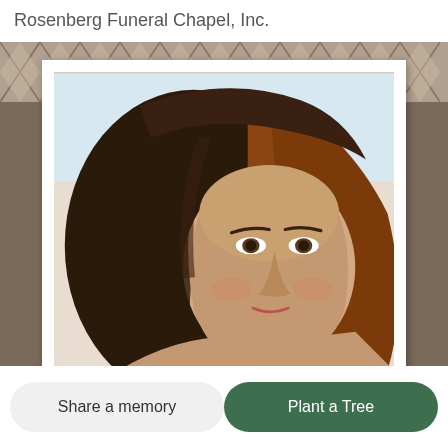Rosenberg Funeral Chapel, Inc.
[Figure (photo): A close-up portrait photo of a woman with shoulder-length auburn/dark hair, visible from the shoulders up, displayed inside a white-bordered frame with an off-white/cream mat, set against a decorative lattice background pattern.]
Share a memory
Plant a Tree